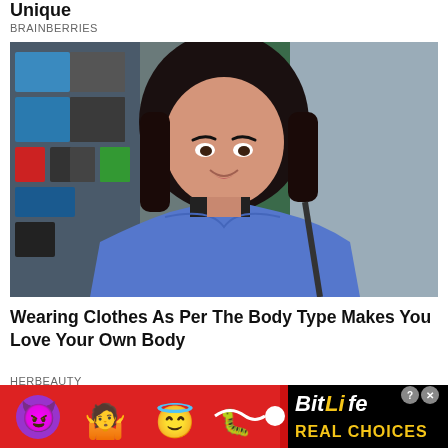Unique
BRAINBERRIES
[Figure (photo): Young woman with dark hair wearing a blue knit cardigan over a black top, smiling at camera. Background shows shelves with blue containers and other items.]
Wearing Clothes As Per The Body Type Makes You Love Your Own Body
HERBEAUTY
[Figure (photo): Partial view of another image at the bottom, partially obscured by advertisement banner.]
[Figure (infographic): BitLife advertisement banner with red background showing emojis (purple devil, person with raised hands, angel face, sperm emoji) on left and BitLife logo with 'REAL CHOICES' text on black background on right. Close and question mark buttons visible.]